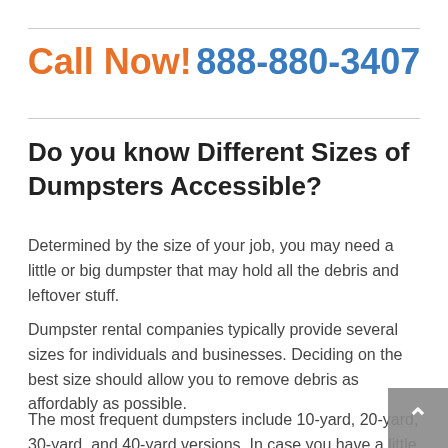Call Now! 888-880-3407
Do you know Different Sizes of Dumpsters Accessible?
Determined by the size of your job, you may need a little or big dumpster that may hold all the debris and leftover stuff.
Dumpster rental companies typically provide several sizes for individuals and businesses. Deciding on the best size should allow you to remove debris as affordably as possible.
The most frequent dumpsters include 10-yard, 20-yard, 30-yard, and 40-yard versions. In case you have a little job, like cleaning out a garage or basement, you can likely reap the benefits of a 10-yard or 20-yard dumpster. In case you have a larger job, like a